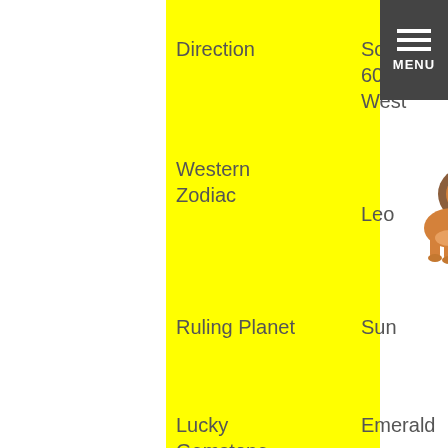Direction: South-60-West
Western Zodiac: Leo
[Figure (illustration): Leo zodiac lion illustration - a seated lion in orange/brown tones]
Ruling Planet: Sun
Lucky Gemstone: Emerald
Force: Yang
Famous Personalities: Bette Davis (Earth-Monkey)
Creative field: Advertising, Sales, Marketing and Mass